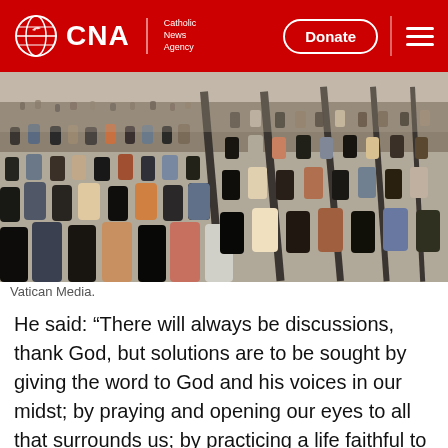CNA | Catholic News Agency — Donate
[Figure (photo): Aerial-perspective photograph of a large crowd of people seated in rows in a large indoor hall, viewed from above and behind, with dividing partitions visible between sections.]
Vatican Media.
He said: “There will always be discussions, thank God, but solutions are to be sought by giving the word to God and his voices in our midst; by praying and opening our eyes to all that surrounds us; by practicing a life faithful to the